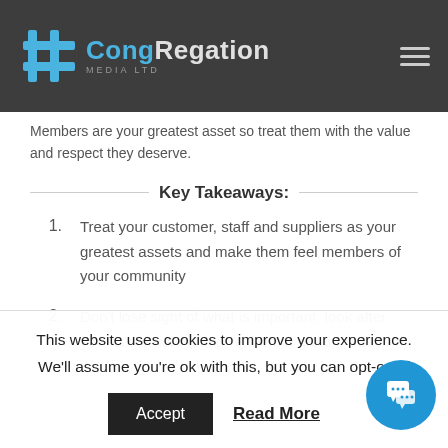CongRegation Media Ltd
Members are your greatest asset so treat them with the value and respect they deserve.
Key Takeaways:
1. Treat your customer, staff and suppliers as your greatest assets and make them feel members of your community
2. Don't lose sight of what is important, look after your customers and give them a great product
This website uses cookies to improve your experience. We'll assume you're ok with this, but you can opt-out if